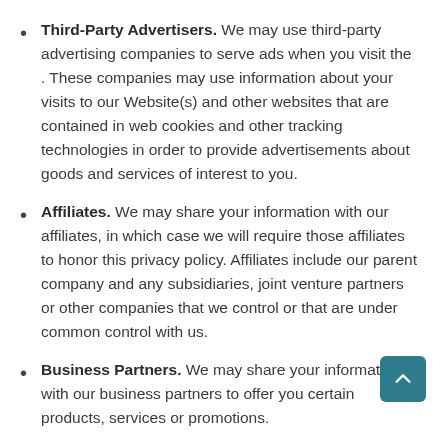Third-Party Advertisers. We may use third-party advertising companies to serve ads when you visit the . These companies may use information about your visits to our Website(s) and other websites that are contained in web cookies and other tracking technologies in order to provide advertisements about goods and services of interest to you.
Affiliates. We may share your information with our affiliates, in which case we will require those affiliates to honor this privacy policy. Affiliates include our parent company and any subsidiaries, joint venture partners or other companies that we control or that are under common control with us.
Business Partners. We may share your information with our business partners to offer you certain products, services or promotions.